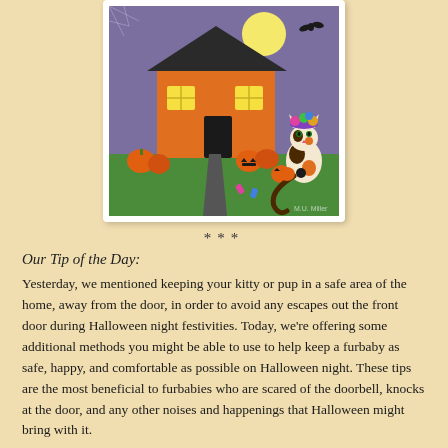[Figure (illustration): A colorful folk-art style Halloween illustration showing an orange house with yellow windows against a purple night sky with a full moon and bat. Jack-o-lanterns and pumpkins are in front of the house, with a calico cat wearing a colorful hat standing to the right holding a small pumpkin. Candy is scattered on the green grass and a winding path leads to the door.]
***
Our Tip of the Day:
Yesterday, we mentioned keeping your kitty or pup in a safe area of the home, away from the door, in order to avoid any escapes out the front door during Halloween night festivities. Today, we're offering some additional methods you might be able to use to help keep a furbaby as safe, happy, and comfortable as possible on Halloween night. These tips are the most beneficial to furbabies who are scared of the doorbell, knocks at the door, and any other noises and happenings that Halloween might bring with it.